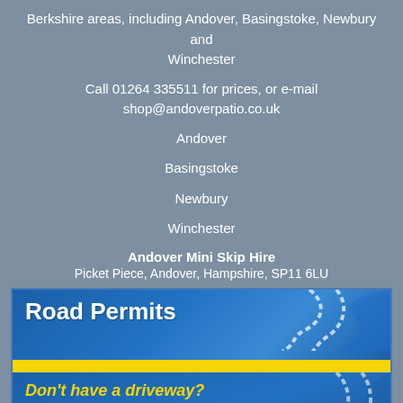Berkshire areas, including Andover, Basingstoke, Newbury and Winchester
Call 01264 335511 for prices, or e-mail shop@andoverpatio.co.uk
Andover
Basingstoke
Newbury
Winchester
Andover Mini Skip Hire
Picket Piece, Andover, Hampshire, SP11 6LU
[Figure (infographic): Advertisement banner for Road Permits service. Blue background with winding road illustration. Title 'Road Permits' in white bold text. Yellow stripe divider. Yellow italic text: 'Don't have a driveway?' followed by 'If you have limited on-site access we can arrange your road permit']